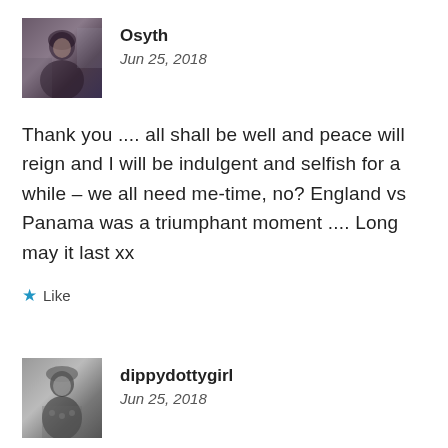[Figure (photo): Avatar photo of user Osyth, showing a person outdoors]
Osyth
Jun 25, 2018
Thank you .... all shall be well and peace will reign and I will be indulgent and selfish for a while – we all need me-time, no? England vs Panama was a triumphant moment .... Long may it last xx
Like
[Figure (photo): Avatar photo of user dippydottygirl, black and white photo of a child]
dippydottygirl
Jun 25, 2018